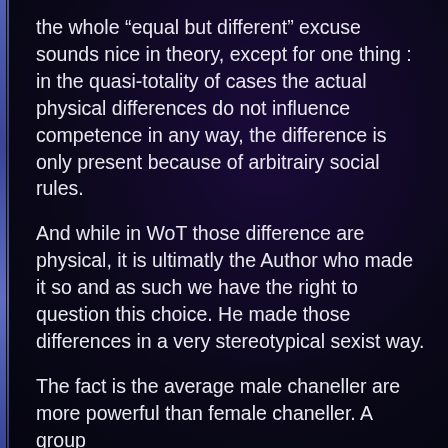the whole “equal but different” excuse sounds nice in theory, except for one thing : in the quasi-totality of cases the actual physical differences do not influence competence in any way, the difference is only present because of arbitrairy social rules.
And while in WoT those difference are physical, it is ultimatly the Author who made it so and as such we have the right to question this choice. He made those differences in a very stereotypical sexist way.
The fact is the average male chaneller are more powerful than female chaneller. A group